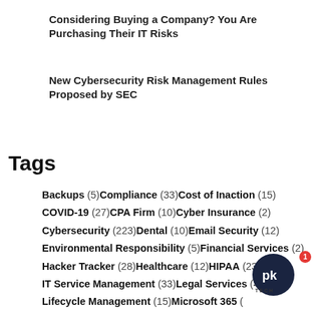Considering Buying a Company? You Are Purchasing Their IT Risks
New Cybersecurity Risk Management Rules Proposed by SEC
Tags
Backups (5)Compliance (33)Cost of Inaction (15) COVID-19 (27)CPA Firm (10)Cyber Insurance (2) Cybersecurity (223)Dental (10)Email Security (12) Environmental Responsibility (5)Financial Services (2) Hacker Tracker (28)Healthcare (12)HIPAA (23)IoT (5) IT Service Management (33)Legal Services (4) Lifecycle Management (15)Microsoft 365 (...) Microsoft Windows (12)Outgrown Your IT Guy (23) ... (10)Phi...(34)... Balance...(14)